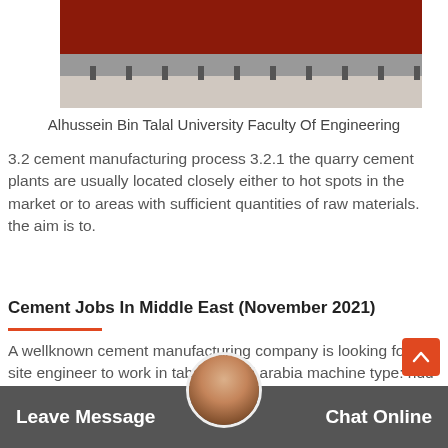[Figure (photo): Partial view of a red heavy truck (rear/side view showing wheels and trailer) on a light grey surface]
Alhussein Bin Talal University Faculty Of Engineering
3.2 cement manufacturing process 3.2.1 the quarry cement plants are usually located closely either to hot spots in the market or to areas with sufficient quantities of raw materials. the aim is to.
Cement Jobs In Middle East (November 2021)
A wellknown cement manufacturing company is looking for a site engineer to work in tabuk, saudi arabia machine type: hdd machinerya wellknown cement manufacturing company is looking for a site engineer to work in tabuk, saudi arabia machine type: hdd machinery (jt1 es 1. quality
Leave Message
Chat Online